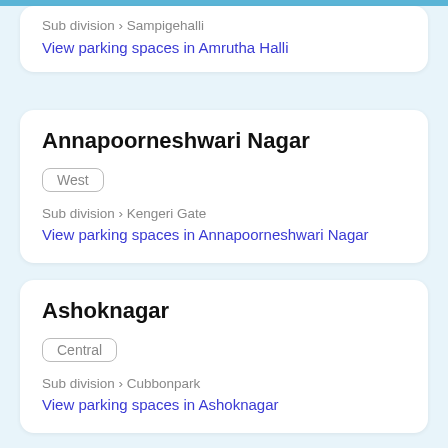Sub division > Sampigehalli
View parking spaces in Amrutha Halli
Annapoorneshwari Nagar
West
Sub division > Kengeri Gate
View parking spaces in Annapoorneshwari Nagar
Ashoknagar
Central
Sub division > Cubbonpark
View parking spaces in Ashoknagar